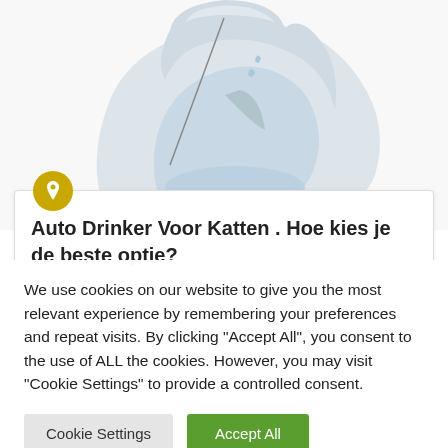[Figure (photo): A white pet water fountain/auto drinker device (Drinkwell Platinum) shown from a slightly elevated angle, with water visible inside the bowl. The product is white/light grey plastic with a curved hood and a small ramp/ramp feature inside.]
Auto Drinker Voor Katten . Hoe kies je de beste optie?
We use cookies on our website to give you the most relevant experience by remembering your preferences and repeat visits. By clicking "Accept All", you consent to the use of ALL the cookies. However, you may visit "Cookie Settings" to provide a controlled consent.
Cookie Settings
Accept All